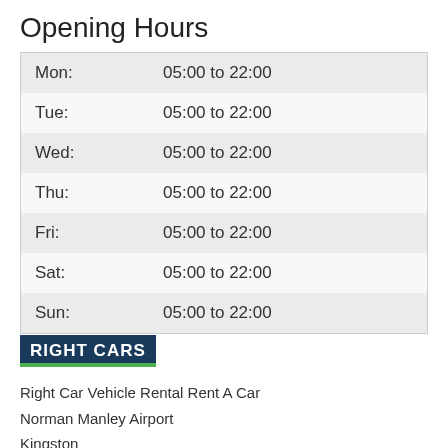Opening Hours
| Mon: | 05:00 to 22:00 |
| Tue: | 05:00 to 22:00 |
| Wed: | 05:00 to 22:00 |
| Thu: | 05:00 to 22:00 |
| Fri: | 05:00 to 22:00 |
| Sat: | 05:00 to 22:00 |
| Sun: | 05:00 to 22:00 |
[Figure (logo): RIGHT CARS logo — dark blue rectangle with green underline bar]
Right Car Vehicle Rental Rent A Car
Norman Manley Airport
Kingston